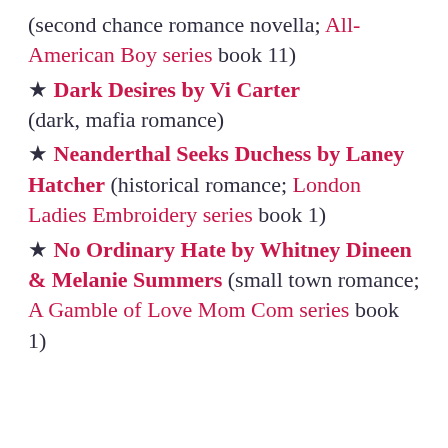(second chance romance novella; All-American Boy series book 11)
★ Dark Desires by Vi Carter (dark, mafia romance)
★ Neanderthal Seeks Duchess by Laney Hatcher (historical romance; London Ladies Embroidery series book 1)
★ No Ordinary Hate by Whitney Dineen & Melanie Summers (small town romance; A Gamble of Love Mom Com series book 1)